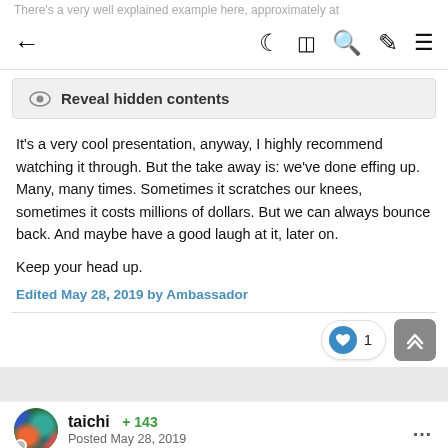There's a very well explained example here, approximately at
[Figure (screenshot): Navigation bar with back arrow, moon icon, grid icon, search icon, brush icon, and hamburger menu icon]
Reveal hidden contents
It's a very cool presentation, anyway, I highly recommend watching it through. But the take away is: we've done effing up. Many, many times. Sometimes it scratches our knees, sometimes it costs millions of dollars. But we can always bounce back. And maybe have a good laugh at it, later on.
Keep your head up.
Edited May 28, 2019 by Ambassador
taichi +143 Posted May 28, 2019